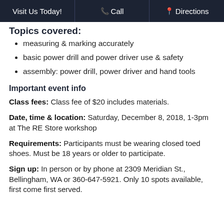Visit Us Today!  Call  Directions
Topics covered:
measuring & marking accurately
basic power drill and power driver use & safety
assembly: power drill, power driver and hand tools
Important event info
Class fees: Class fee of $20 includes materials.
Date, time & location: Saturday, December 8, 2018, 1-3pm at The RE Store workshop
Requirements: Participants must be wearing closed toed shoes. Must be 18 years or older to participate.
Sign up: In person or by phone at 2309 Meridian St., Bellingham, WA or 360-647-5921. Only 10 spots available, first come first served.